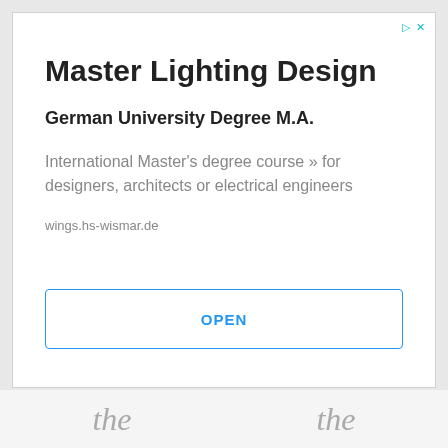Master Lighting Design
German University Degree M.A.
International Master's degree course » for designers, architects or electrical engineers
wings.hs-wismar.de
OPEN
the   the